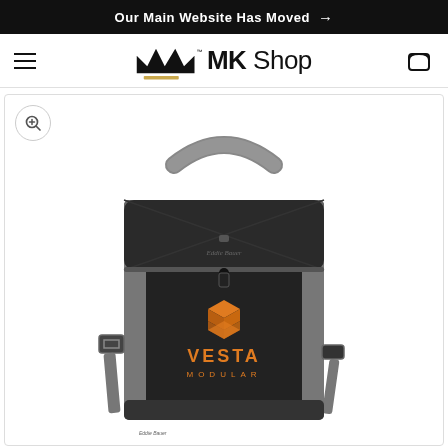Our Main Website Has Moved →
[Figure (logo): MK Shop logo with crown icon and gold underline]
[Figure (photo): Black soft-sided cooler bag with gray straps and handles, featuring Vesta Modular logo in orange on the front panel. Eddie Bauer branding visible. Product has shoulder strap, zipper pulls, and clip attachments.]